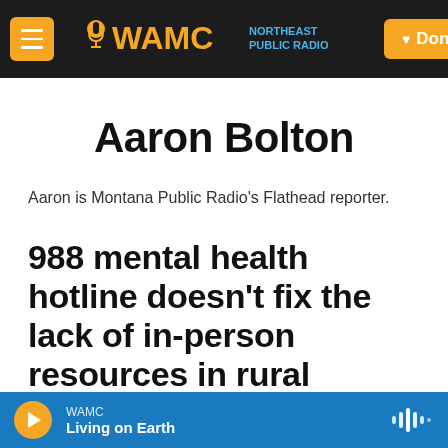WAMC Northeast Public Radio — Donate
Aaron Bolton
Aaron is Montana Public Radio's Flathead reporter.
988 mental health hotline doesn't fix the lack of in-person resources in rural
WAMC — Living on Earth